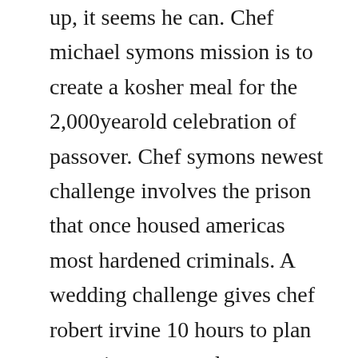up, it seems he can. Chef michael symons mission is to create a kosher meal for the 2,000yearold celebration of passover. Chef symons newest challenge involves the prison that once housed americas most hardened criminals. A wedding challenge gives chef robert irvine 10 hours to plan an entire menu and prepare a gourmet meal for 200 guests. The dinner and buffet will be setup in the ring after the show. Impossible season 5, with extraordinary skill and delicious results, chef robert irvine delivers remarkable menus for